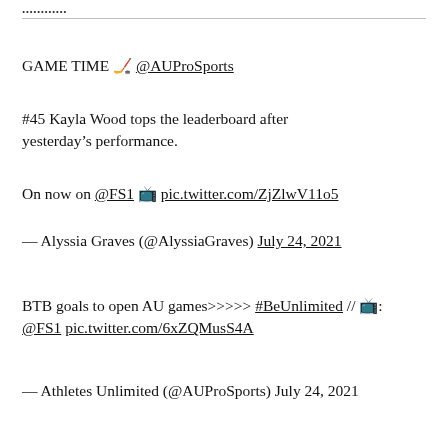...
GAME TIME 🏒 @AUProSports
#45 Kayla Wood tops the leaderboard after yesterday's performance.
On now on @FS1 📺 pic.twitter.com/ZjZlwV11o5
— Alyssia Graves (@AlyssiaGraves) July 24, 2021
BTB goals to open AU games>>>>> #BeUnlimited // 📺: @FS1 pic.twitter.com/6xZQMusS4A
— Athletes Unlimited (@AUProSports) July 24, 2021